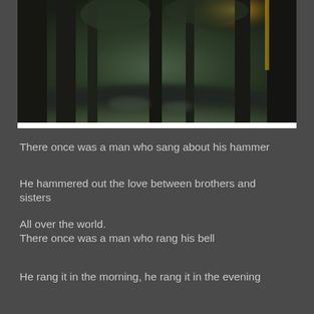[Figure (photo): A dark forest scene with tall tree trunks, green foliage, rocky ground, and a warm golden light glowing from behind a tree on the right side]
There once was a man who sang about his hammer
He hammered out the love between brothers and sisters
All over the world.
There once was a man who rang his bell
He rang it in the morning, he rang it in the evening